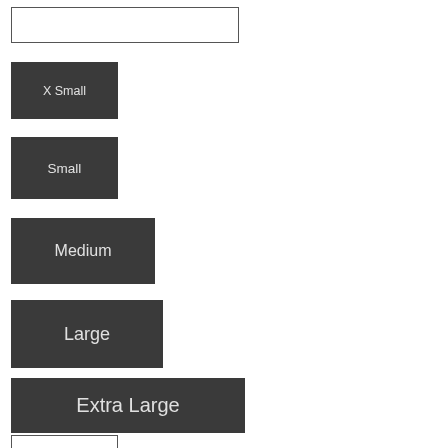[Figure (screenshot): UI component showcase showing buttons of various sizes: an outlined input/button at top, followed by dark filled buttons labeled X Small, Small, Medium, Large, Extra Large, and finally an outlined X Small button at bottom.]
X Small (dark button)
Small (dark button)
Medium (dark button)
Large (dark button)
Extra Large (dark button)
X Small (outlined button)